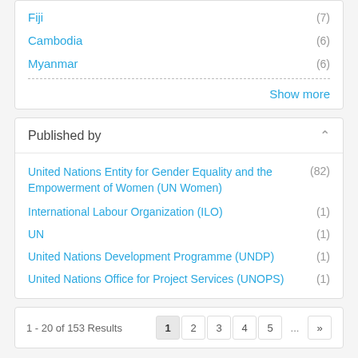Fiji (7)
Cambodia (6)
Myanmar (6)
Show more
Published by
United Nations Entity for Gender Equality and the Empowerment of Women (UN Women) (82)
International Labour Organization (ILO) (1)
UN (1)
United Nations Development Programme (UNDP) (1)
United Nations Office for Project Services (UNOPS) (1)
1 - 20 of 153 Results
1  2  3  4  5  ...  »